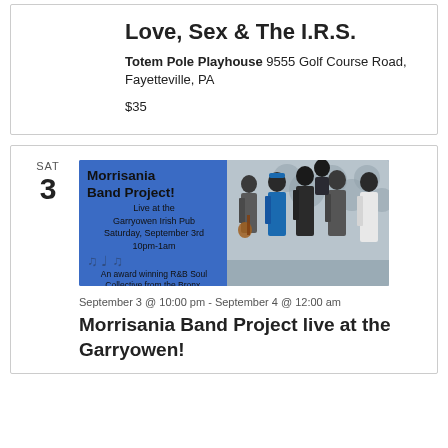Love, Sex & The I.R.S.
Totem Pole Playhouse 9555 Golf Course Road, Fayetteville, PA
$35
SAT
3
[Figure (photo): Event flyer and group photo for Morrisania Band Project live at the Garryowen Irish Pub, Saturday September 3rd 10pm-1am. An award winning R&B Soul Collective from the Bronx.]
September 3 @ 10:00 pm - September 4 @ 12:00 am
Morrisania Band Project live at the Garryowen!